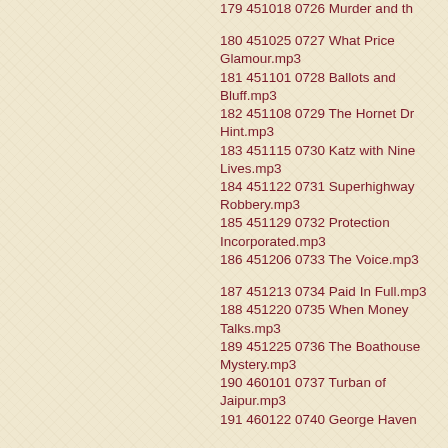179 451018 0726 Murder and th
180 451025 0727 What Price Glamour.mp3
181 451101 0728 Ballots and Bluff.mp3
182 451108 0729 The Hornet Dr Hint.mp3
183 451115 0730 Katz with Nine Lives.mp3
184 451122 0731 Superhighway Robbery.mp3
185 451129 0732 Protection Incorporated.mp3
186 451206 0733 The Voice.mp3
187 451213 0734 Paid In Full.mp3
188 451220 0735 When Money Talks.mp3
189 451225 0736 The Boathouse Mystery.mp3
190 460101 0737 Turban of Jaipur.mp3
191 460122 0740 George Haven